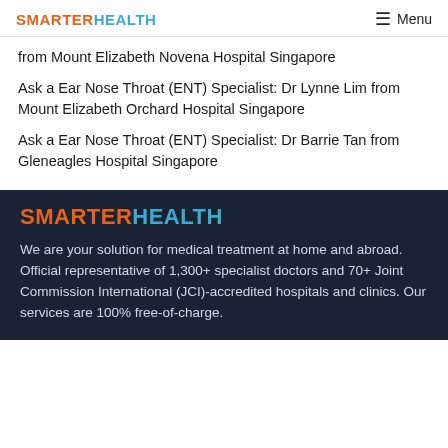SMARTER HEALTH | Menu
from Mount Elizabeth Novena Hospital Singapore
Ask a Ear Nose Throat (ENT) Specialist: Dr Lynne Lim from Mount Elizabeth Orchard Hospital Singapore
Ask a Ear Nose Throat (ENT) Specialist: Dr Barrie Tan from Gleneagles Hospital Singapore
SMARTER HEALTH
We are your solution for medical treatment at home and abroad. Official representative of 1,300+ specialist doctors and 70+ Joint Commission International (JCI)-accredited hospitals and clinics. Our services are 100% free-of-charge.